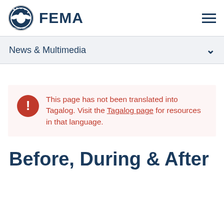FEMA
News & Multimedia
This page has not been translated into Tagalog. Visit the Tagalog page for resources in that language.
Before, During & After